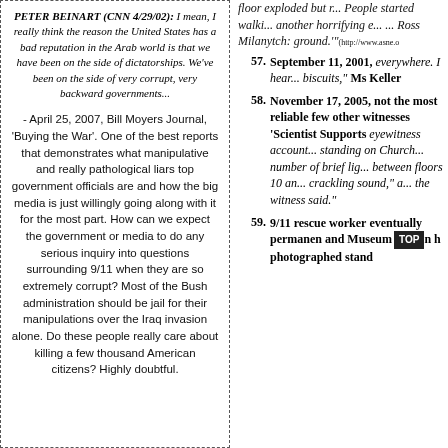PETER BEINART (CNN 4/29/02): I mean, I really think the reason the United States has a bad reputation in the Arab world is that we have been on the side of dictatorships. We've been on the side of very corrupt, very backward governments...
- April 25, 2007, Bill Moyers Journal, 'Buying the War'. One of the best reports that demonstrates what manipulative and really pathological liars top government officials are and how the big media is just willingly going along with it for the most part. How can we expect the government or media to do any serious inquiry into questions surrounding 9/11 when they are so extremely corrupt? Most of the Bush administration should be jail for their manipulations over the Iraq invasion alone. Do these people really care about killing a few thousand American citizens? Highly doubtful.
floor exploded but...
57. September 11, 2001, ... everywhere. I hear... biscuits," Ms Keller...
58. November 17, 2005, not the most reliable... few other witnesses... 'Scientist Supports ... eyewitness account... standing on Church... number of brief lig... between floors 10 an... crackling sound," a... the witness said."
59. 9/11 rescue worker... eventually permane... and Museum on h... photographed stand...